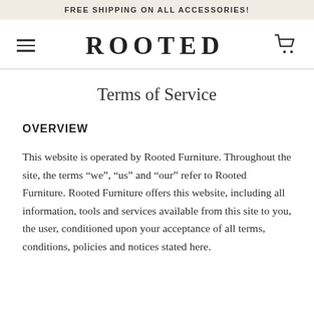FREE SHIPPING ON ALL ACCESSORIES!
ROOTED
Terms of Service
OVERVIEW
This website is operated by Rooted Furniture. Throughout the site, the terms “we”, “us” and “our” refer to Rooted Furniture. Rooted Furniture offers this website, including all information, tools and services available from this site to you, the user, conditioned upon your acceptance of all terms, conditions, policies and notices stated here.